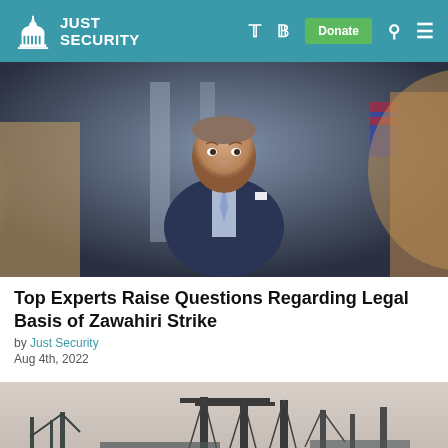Just Security
[Figure (photo): Man in navy blue suit at a White House press briefing, photographed from an angle with blurred foreground figures]
Top Experts Raise Questions Regarding Legal Basis of Zawahiri Strike
by Just Security
Aug 4th, 2022
[Figure (photo): Port or shipyard with large cranes and industrial equipment against a hazy sky]